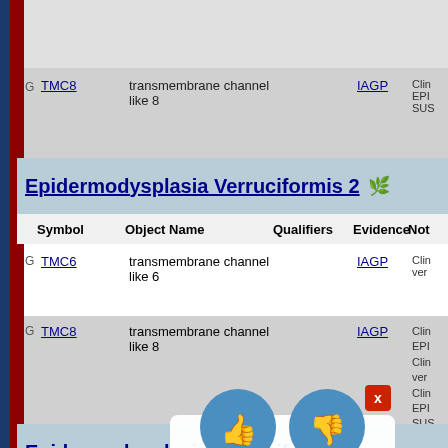| Symbol | Object Name | Qualifiers | Evidence | Notes |
| --- | --- | --- | --- | --- |
| TMC8 | transmembrane channel like 8 |  | IAGP | Clin... EPI... SUS... |
Epidermodysplasia Verruciformis 2
| Symbol | Object Name | Qualifiers | Evidence | Notes |
| --- | --- | --- | --- | --- |
| TMC6 | transmembrane channel like 6 |  | IAGP | Clin... ver... |
| TMC8 | transmembrane channel like 8 |  | IAGP | Clin... EPI... Clin... ver... Clin... EPI... SUS... |
Epidermodysplasia Verruciformis
| Symbol | Object Name | Qualifiers | Evidence | Notes |
| --- | --- | --- | --- | --- |
|  | calcium and integrin... |  |  | Clin... EPI... |
[Figure (screenshot): UI overlay with thumbs up button, thumbs down button, X close button, and Send Message button]